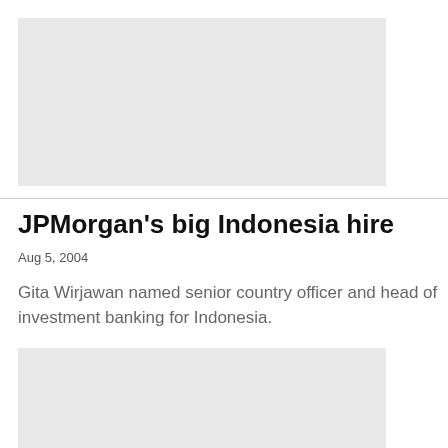[Figure (photo): Gray placeholder image box at top of page]
JPMorgan's big Indonesia hire
Aug 5, 2004
Gita Wirjawan named senior country officer and head of investment banking for Indonesia.
[Figure (photo): Gray placeholder image box at bottom of page]